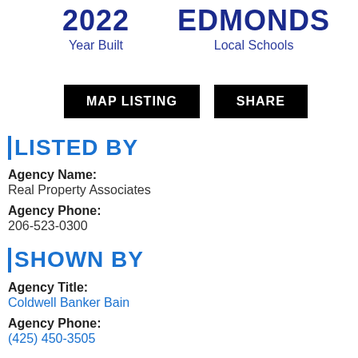2022
Year Built
EDMONDS
Local Schools
MAP LISTING
SHARE
LISTED BY
Agency Name:
Real Property Associates
Agency Phone:
206-523-0300
SHOWN BY
Agency Title:
Coldwell Banker Bain
Agency Phone:
(425) 450-3505